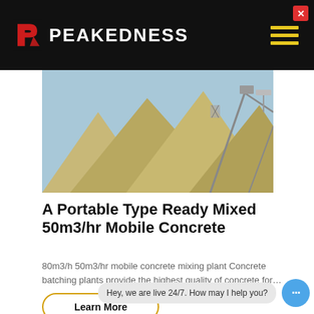PEAKEDNESS
[Figure (photo): Aerial view of large sand/aggregate mounds at a concrete batching plant with conveyor structures in the background against a blue sky]
A Portable Type Ready Mixed 50m3/hr Mobile Concrete
80m3/h 50m3/hr mobile concrete mixing plant Concrete batching plants provide the highest quality of concrete for…
Learn More
Hey, we are live 24/7. How may I help you?